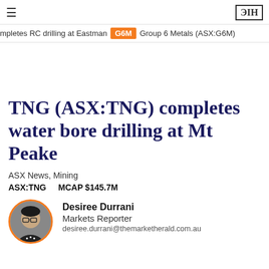≡  ЭIH
mpletes RC drilling at Eastman  G6M  Group 6 Metals (ASX:G6M)
TNG (ASX:TNG) completes water bore drilling at Mt Peake
ASX News, Mining
ASX:TNG    MCAP $145.7M
Desiree Durrani
Markets Reporter
desiree.durrani@themarketherald.com.au